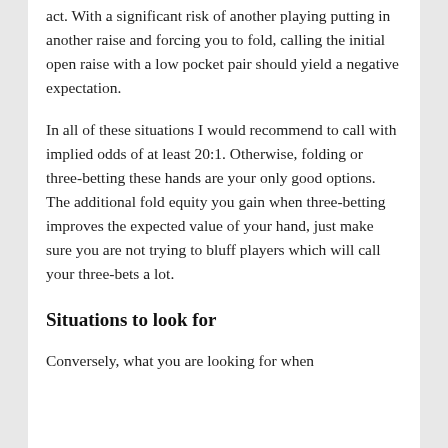act. With a significant risk of another playing putting in another raise and forcing you to fold, calling the initial open raise with a low pocket pair should yield a negative expectation.
In all of these situations I would recommend to call with implied odds of at least 20:1. Otherwise, folding or three-betting these hands are your only good options. The additional fold equity you gain when three-betting improves the expected value of your hand, just make sure you are not trying to bluff players which will call your three-bets a lot.
Situations to look for
Conversely, what you are looking for when